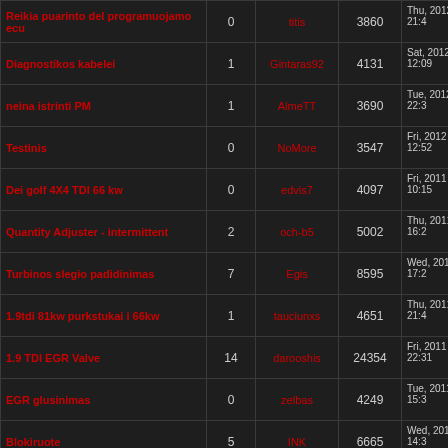| Topic | Replies | Author | Views | Last Post |
| --- | --- | --- | --- | --- |
| Reikia puarinto del programuojamo ecu | 0 | titis | 3860 | Thu, 2012 10 04 21:4
titis |
| Diagnostikos kabelei | 1 | Gintaras92 | 4131 | Sat, 2012 06 23 12:09
VIMOTA |
| neina istrinti PM | 1 | AlmeTT | 3690 | Tue, 2012 04 17 22:3
piratas423 |
| Testinis | 0 | NoMore | 3547 | Fri, 2012 04 13 12:52
NoMore |
| Dei golf 4X4 TDI 66 kw | 0 | edvis7 | 4097 | Fri, 2011 08 19 10:15
erdvis7 |
| Quantity Adjuster - intermittent | 2 | och-b5 | 5002 | Thu, 2011 08 18 16:2
och-b5 |
| Turbinos slegio padidinimas | 7 | Egis | 8595 | Wed, 2011 08 17 17:2
Aronokes |
| 1.9tdi 81kw purkstukai i 66kw | 1 | tauciunxs | 4651 | Thu, 2011 06 16 21:4
Dasco |
| 1.9 TDI EGR Valve | 14 | darooshis | 24354 | Fri, 2011 05 20 22:31
darooshis |
| EGR glusinimas | 0 | zelbas | 4249 | Tue, 2011 05 03 15:3
zelbas |
| Blokiruote | 5 | INK | 6665 | Wed, 2011 03 30 14:3
INK |
| Passat B5 TDI salono pecius | 0 | INK | 3751 | Tue, 2011 02 01 19:5
INK |
| Pajero 2.5td patobulinimas? | 3 | Sarunas | 4952 | Mon, 2011 01 24 22:2
Tautvydas |